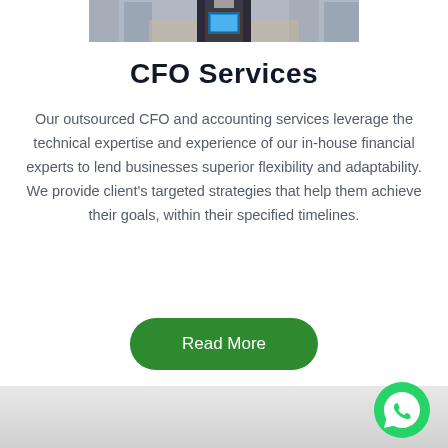[Figure (photo): Partial photo of a person in a suit holding a tablet device, viewed from above at a conference table]
CFO Services
Our outsourced CFO and accounting services leverage the technical expertise and experience of our in-house financial experts to lend businesses superior flexibility and adaptability. We provide client's targeted strategies that help them achieve their goals, within their specified timelines.
Read More